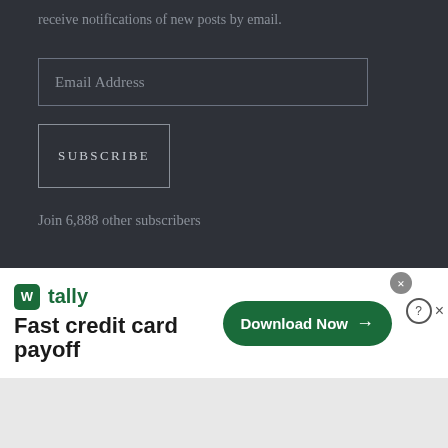receive notifications of new posts by email.
Email Address
SUBSCRIBE
Join 6,888 other subscribers
RECENT COMMENTS
[Figure (screenshot): Infolinks advertisement bar with logo and truncated comment text]
[Figure (screenshot): Tally advertisement banner: 'Fast credit card payoff' with Download Now button, close and help/X buttons]